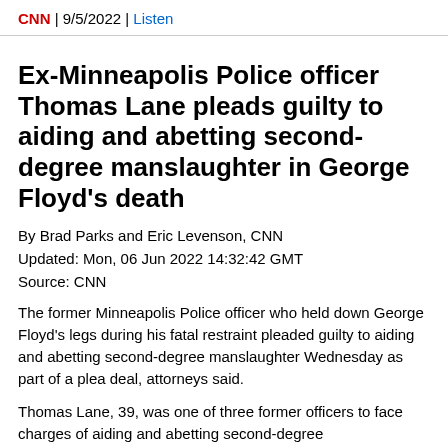CNN | 9/5/2022 | Listen
Ex-Minneapolis Police officer Thomas Lane pleads guilty to aiding and abetting second-degree manslaughter in George Floyd's death
By Brad Parks and Eric Levenson, CNN
Updated: Mon, 06 Jun 2022 14:32:42 GMT
Source: CNN
The former Minneapolis Police officer who held down George Floyd's legs during his fatal restraint pleaded guilty to aiding and abetting second-degree manslaughter Wednesday as part of a plea deal, attorneys said.
Thomas Lane, 39, was one of three former officers to face charges of aiding and abetting second-degree